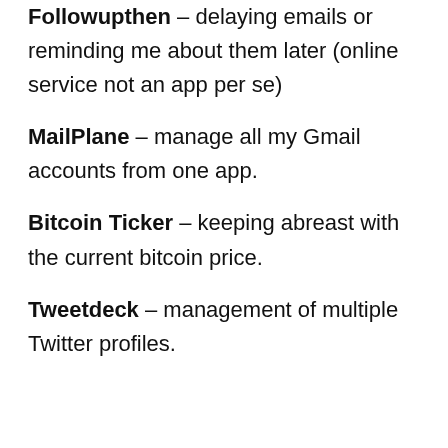Followupthen – delaying emails or reminding me about them later (online service not an app per se)
MailPlane – manage all my Gmail accounts from one app.
Bitcoin Ticker – keeping abreast with the current bitcoin price.
Tweetdeck – management of multiple Twitter profiles.